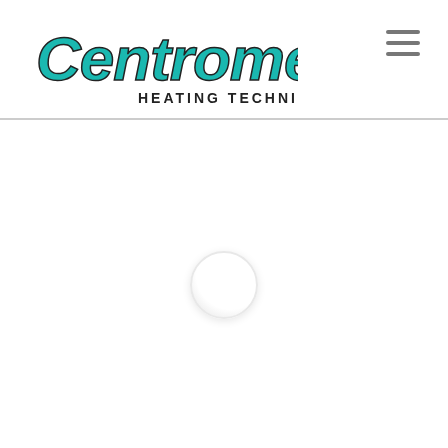[Figure (logo): Centrometal Heating Technique company logo with teal cursive text and bold sans-serif subtitle]
[Figure (other): Hamburger menu icon (three horizontal lines) in grey, top right corner]
[Figure (other): Loading spinner circle in center of page content area]